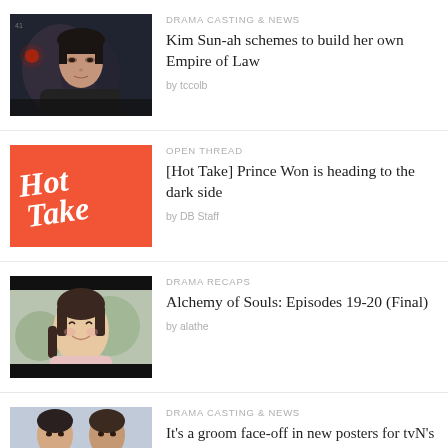[Figure (photo): Dark cinematic photo of a woman with bangs looking pensive]
DRAMA CASTING & NEWS
Kim Sun-ah schemes to build her own Empire of Law
by tccolb
[Figure (illustration): Red/orange background with cursive white 'Hot Take' text]
OPEN THREAD
[Hot Take] Prince Won is heading to the dark side
by DB Staff
[Figure (photo): Young woman with braided hair smiling, wearing light pink]
DRAMA RECAPS
Alchemy of Souls: Episodes 19-20 (Final)
by alathe
[Figure (photo): Two men facing each other, groom face-off promotional poster for tvN]
DRAMA CASTING & NEWS
It's a groom face-off in new posters for tvN's